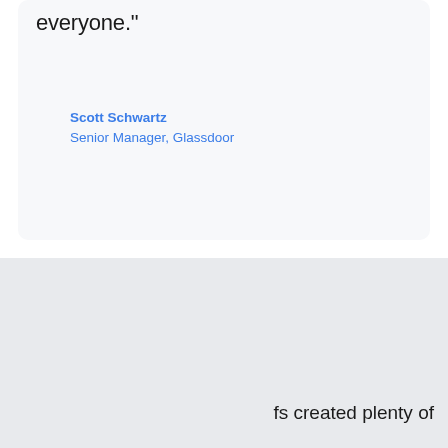everyone."
Scott Schwartz
Senior Manager, Glassdoor
This website stores data such as cookies to enable essential site functionality, as well as marketing, personalization, and analytics. By remaining on this website you indicate your consent.
Privacy Notice
fs created plenty of